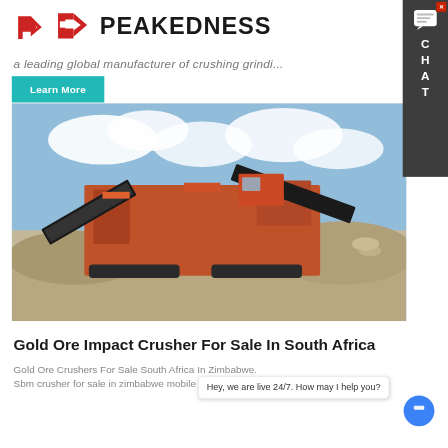[Figure (logo): Peakedness logo with red arrow/P icon and bold text PEAKEDNESS]
a leading global manufacturer of crushing grindi...
Learn More
[Figure (photo): Red mobile impact crusher/screening machine processing gravel on a construction or mining site, with blue sky and clouds in the background]
Gold Ore Impact Crusher For Sale In South Africa
Gold Ore Crushers For Sale South Africa In Zimbabwe. Sbm crusher for sale in zimbabwe mobile mineral